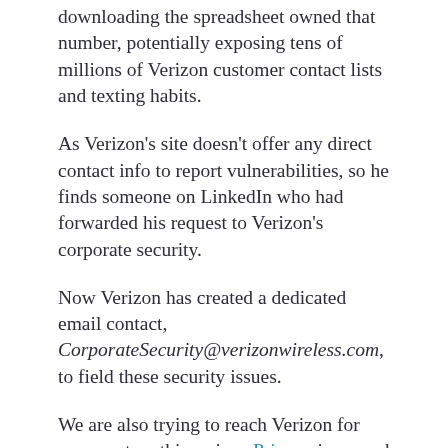downloading the spreadsheet owned that number, potentially exposing tens of millions of Verizon customer contact lists and texting habits.
As Verizon's site doesn't offer any direct contact info to report vulnerabilities, so he finds someone on LinkedIn who had forwarded his request to Verizon's corporate security.
Now Verizon has created a dedicated email contact, CorporateSecurity@verizonwireless.com, to field these security issues.
We are also trying to reach Verizon for comment on this serious Privacy issue and will update should back.